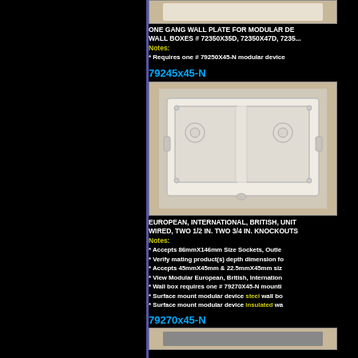[Figure (photo): Top portion of a wall plate product image (cropped)]
ONE GANG WALL PLATE FOR MODULAR DE WALL BOXES # 72350X35D, 72350X47D, 7235... Notes: * Requires one # 79250X45-N modular device
79245x45-N
[Figure (photo): White double gang surface mount wall box (79245x45-N) showing knockouts and mounting holes]
EUROPEAN, INTERNATIONAL, BRITISH, UNIT WIRED, TWO 1/2 IN. TWO 3/4 IN. KNOCKOUTS Notes: * Accepts 86mmX146mm Size Sockets, Outle * Verify mating product(s) depth dimension fo * Accepts 45mmX45mm & 22.5mmX45mm siz * View Modular European, British, Internation * Wall box requires one # 79270X45-N mounti * Surface mount modular device steel wall bo * Surface mount modular device insulated wa
79270x45-N
[Figure (photo): Bottom portion of a product image (cropped, partially visible)]